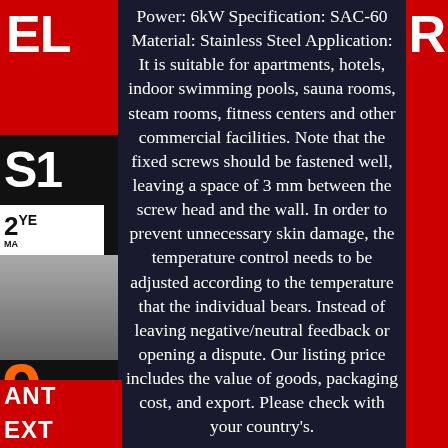Power: 6kW Specification: SAC-60 Material: Stainless Steel Application: It is suitable for apartments, hotels, indoor swimming pools, sauna rooms, steam rooms, fitness centers and other commercial facilities. Note that the fixed screws should be fastened well, leaving a space of 3 mm between the screw head and the wall. In order to prevent unnecessary skin damage, the temperature control needs to be adjusted according to the temperature that the individual bears. Instead of leaving negative/neutral feedback or opening a dispute. Our listing price includes the value of goods, packaging cost, and export. Please check with your country's.
We will reply your message within 48 hours. If you do not receive our reply within 48 hours, pls. Post a message again because sometimes our message system may block some emails. If you are satisfied with our service, pls. Our aim is to provide Level Customer Service, your recognition will encourage us greatly and serve